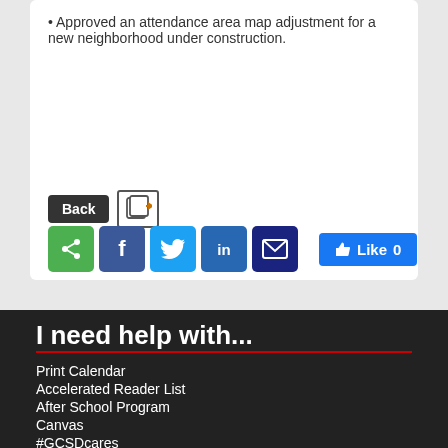Approved an attendance area map adjustment for a new neighborhood under construction.
[Figure (screenshot): Back button and share/export icon button row]
[Figure (screenshot): Social sharing buttons: green share, Facebook, Twitter, LinkedIn, email, and Facebook Like button showing 0 likes]
I need help with...
Print Calendar
Accelerated Reader List
After School Program
Canvas
#GCSDcares